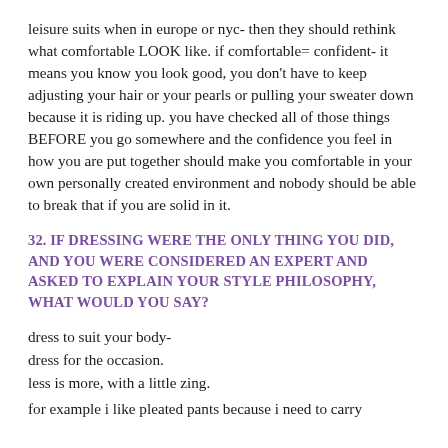leisure suits when in europe or nyc- then they should rethink what comfortable LOOK like. if comfortable= confident- it means you know you look good, you don't have to keep adjusting your hair or your pearls or pulling your sweater down because it is riding up. you have checked all of those things BEFORE you go somewhere and the confidence you feel in how you are put together should make you comfortable in your own personally created environment and nobody should be able to break that if you are solid in it.
32. IF DRESSING WERE THE ONLY THING YOU DID, AND YOU WERE CONSIDERED AN EXPERT AND ASKED TO EXPLAIN YOUR STYLE PHILOSOPHY, WHAT WOULD YOU SAY?
dress to suit your body-
dress for the occasion.
less is more, with a little zing.
for example i like pleated pants because i need to carry